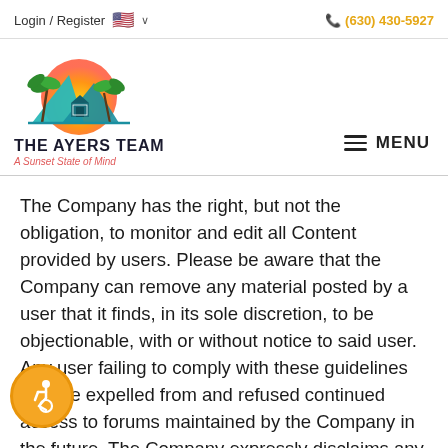Login / Register   🇺🇸 ∨   (630) 430-5927
[Figure (logo): The Ayers Team logo with palm trees, sunset, and house icon. Text: THE AYERS TEAM / A Sunset State of Mind]
The Company has the right, but not the obligation, to monitor and edit all Content provided by users. Please be aware that the Company can remove any material posted by a user that it finds, in its sole discretion, to be objectionable, with or without notice to said user. Any user failing to comply with these guidelines may be expelled from and refused continued access to forums maintained by the Company in the future. The Company expressly disclaims any and all responsibility and makes no representations as to the validity of any opinions and/or information posted by users and/or